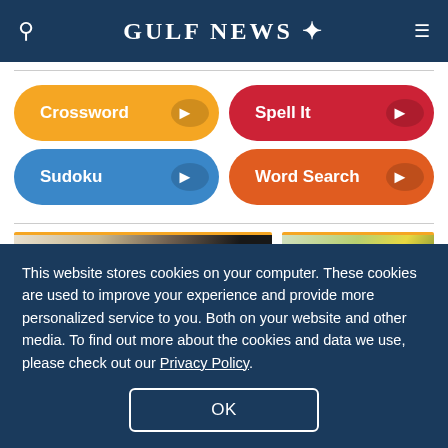GULF NEWS
Crossword
Spell It
Sudoku
Word Search
[Figure (photo): Two side-by-side article thumbnail images: left shows a person with a laptop and notebook, right shows a building with palm trees]
This website stores cookies on your computer. These cookies are used to improve your experience and provide more personalized service to you. Both on your website and other media. To find out more about the cookies and data we use, please check out our Privacy Policy.